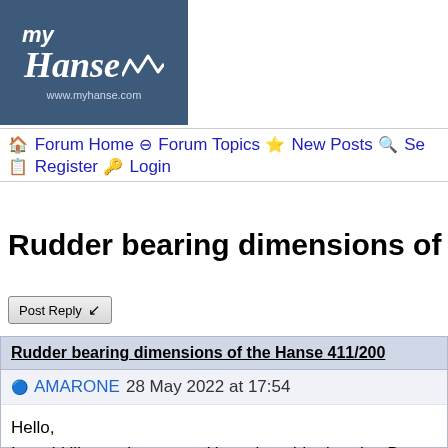[Figure (logo): myHanse logo on dark blue background with wave symbol and www.myhanse.com URL]
🏠 Forum Home ⊖ Forum Topics ⭐ New Posts 🔍 Se... 📋 Register 🔑 Login
Rudder bearing dimensions of the Han...
Post Reply
Rudder bearing dimensions of the Hanse 411/200...
AMARONE 28 May 2022 at 17:54
Hello,
I would like to change my Hanse's rudder bearing B... dimensions. Are there anybody  knows?
Thanks,